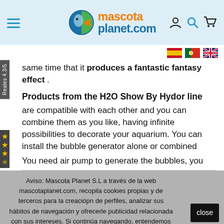[Figure (logo): Mascota Planet.com logo with fish/globe icon and orange/blue text]
[Figure (illustration): Three country flags: Spain, Portugal, United Kingdom]
same time that it produces a fantastic fantasy effect .
Products from the H2O Show By Hydor line
are compatible with each other and you can combine them as you like, having infinite possibilities to decorate your aquarium. You can install the bubble generator alone or combined
You need air pump to generate the bubbles, you
Aviso: Mascota Planet S.L a través de la web mascotaplanet.com, recopila cookies propias y de terceros para la creaciópn de perfiles, analizar sus hábitos de navegación y ofrecerle publicidad relacionada con sus intereses. Si continúa navegando, entendemos que acepta su uso. Para más información, véase nuestra Política de cookies  No acepto (saldrá de la web)